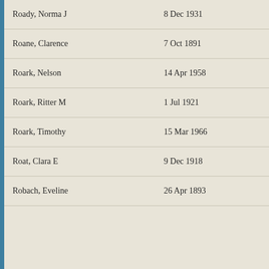| Name | Date |
| --- | --- |
| Roady, Norma J | 8 Dec 1931 |
| Roane, Clarence | 7 Oct 1891 |
| Roark, Nelson | 14 Apr 1958 |
| Roark, Ritter M | 1 Jul 1921 |
| Roark, Timothy | 15 Mar 1966 |
| Roat, Clara E | 9 Dec 1918 |
| Robach, Eveline | 26 Apr 1893 |